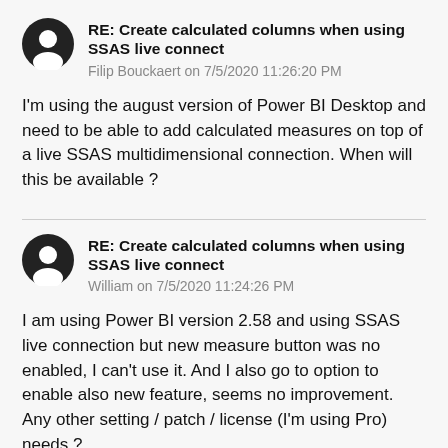RE: Create calculated columns when using SSAS live connect
Filip Bouckaert on 7/5/2020 11:26:20 PM
I'm using the august version of Power BI Desktop and need to be able to add calculated measures on top of a live SSAS multidimensional connection. When will this be available ?
RE: Create calculated columns when using SSAS live connect
William on 7/5/2020 11:24:26 PM
I am using Power BI version 2.58 and using SSAS live connection but new measure button was no enabled, I can't use it. And I also go to option to enable also new feature, seems no improvement. Any other setting / patch / license (I'm using Pro) needs ?